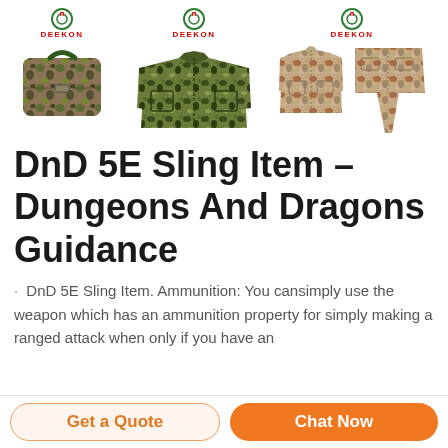[Figure (photo): Three groups of military/tactical products with DEEKON logos: a camouflage bag, a woodland camo jacket, and a desert camo shirt and pants set]
DnD 5E Sling Item - Dungeons And Dragons Guidance
DnD 5E Sling Item. Ammunition: You cansimply use the weapon which has an ammunition property for simply making a ranged attack when only if you have an
Get a Quote
Chat Now